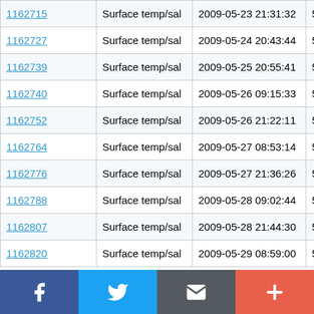| ID | Type | Date/Time | Value |
| --- | --- | --- | --- |
| 1162715 | Surface temp/sal | 2009-05-23 21:31:32 | 53.336 N |
| 1162727 | Surface temp/sal | 2009-05-24 20:43:44 | 53.33 N |
| 1162739 | Surface temp/sal | 2009-05-25 20:55:41 | 53.337 N |
| 1162740 | Surface temp/sal | 2009-05-26 09:15:33 | 53.33 N |
| 1162752 | Surface temp/sal | 2009-05-26 21:22:11 | 53.337 N |
| 1162764 | Surface temp/sal | 2009-05-27 08:53:14 | 53.331 N |
| 1162776 | Surface temp/sal | 2009-05-27 21:36:26 | 53.337 N |
| 1162788 | Surface temp/sal | 2009-05-28 09:02:44 | 53.33 N |
| 1162807 | Surface temp/sal | 2009-05-28 21:44:30 | 53.337 N |
| 1162820 | Surface temp/sal | 2009-05-29 08:59:00 | 53.33 N |
Social share buttons: Facebook, Twitter, Email, Add